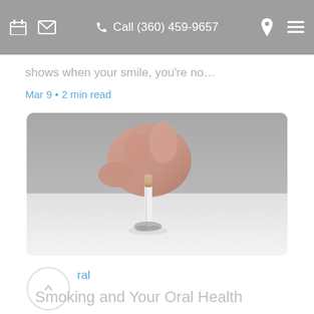Call (360) 459-9657
shows when your smile, you're no…
Mar 9 • 2 min read
[Figure (photo): A hand stubbing out a cigarette on a white surface, ash visible at the tip, gray background.]
ral
Smoking and Your Oral Health